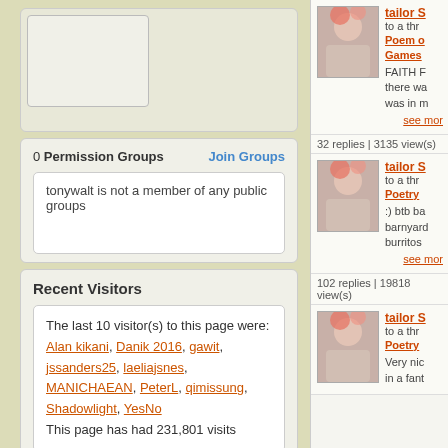0 Permission Groups   Join Groups
tonywalt is not a member of any public groups
Recent Visitors
The last 10 visitor(s) to this page were: Alan kikani, Danik 2016, gawit, jssanders25, laeliajsnes, MANICHAEAN, PeterL, qimissung, Shadowlight, YesNo
This page has had 231,801 visits
tailor S to a thr Poem o Games
FAITH F there wa was in m
see mor
32 replies | 3135 view(s)
tailor S to a thr Poetry
:) btb ba barnyard burritos
see mor
102 replies | 19818 view(s)
tailor S to a thr Poetry
Very nic in a fant